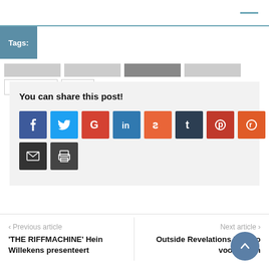Tags:  Metal Gear  USA
You can share this post!
[Figure (infographic): Social share buttons: Facebook, Twitter, Google+, LinkedIn, StumbleUpon, Tumblr, Pinterest, Reddit, Email, Print]
< Previous article
'THE RIFFMACHINE' Hein Willekens presenteert
Next article >
Outside Revelations lt video voor New n